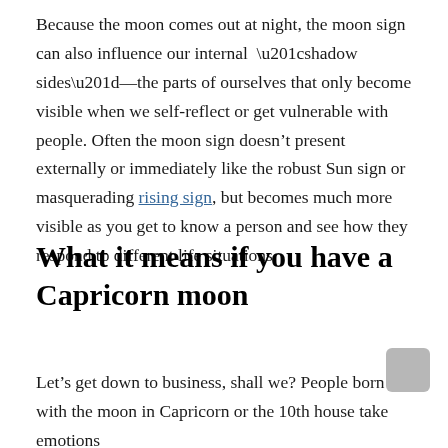Because the moon comes out at night, the moon sign can also influence our internal “shadow sides”—the parts of ourselves that only become visible when we self-reflect or get vulnerable with people. Often the moon sign doesn’t present externally or immediately like the robust Sun sign or masquerading rising sign, but becomes much more visible as you get to know a person and see how they respond to different life situations.
What it means if you have a Capricorn moon
Let’s get down to business, shall we? People born with the moon in Capricorn or the 10th house take emotions